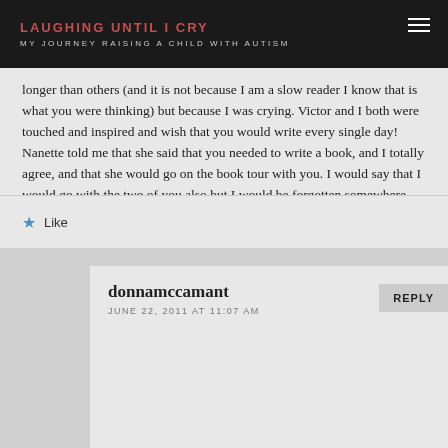LAUGHING UNTIL I CRY / MY JOURNEY RAISING A CHILD WITH AUTISM
longer than others (and it is not because I am a slow reader I know that is what you were thinking) but because I was crying. Victor and I both were touched and inspired and wish that you would write every single day! Nanette told me that she said that you needed to write a book, and I totally agree, and that she would go on the book tour with you. I would say that I would go with the two of you also but I would be forgotten somewhere along the way because food has always been a higher priority than picking up the little sister! Thanks for sharing – love ya!
★ Like
REPLY
donnamccamant
JUNE 22, 2011 AT 11:07 AM